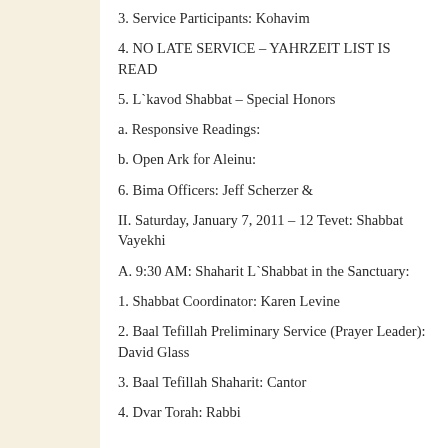3. Service Participants: Kohavim
4. NO LATE SERVICE – YAHRZEIT LIST IS READ
5. L`kavod Shabbat – Special Honors
a. Responsive Readings:
b. Open Ark for Aleinu:
6. Bima Officers: Jeff Scherzer &
II. Saturday, January 7, 2011 – 12 Tevet: Shabbat Vayekhi
A. 9:30 AM: Shaharit L`Shabbat in the Sanctuary:
1. Shabbat Coordinator: Karen Levine
2. Baal Tefillah Preliminary Service (Prayer Leader): David Glass
3. Baal Tefillah Shaharit: Cantor
4. Dvar Torah: Rabbi